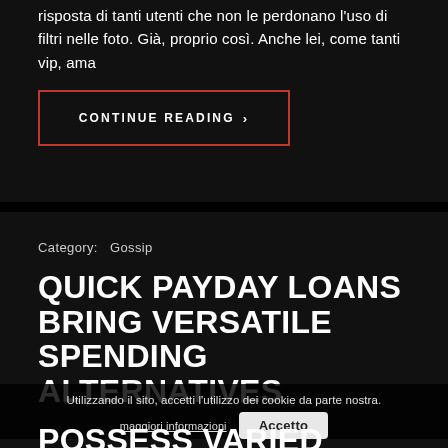risposta di tanti utenti che non le perdonano l'uso di filtri nelle foto. Già, proprio così. Anche lei, come tanti vip, ama
CONTINUE READING >
Category:  Gossip
QUICK PAYDAY LOANS BRING VERSATILE SPENDING ALTERNATIVES
Utilizzando il sito, accetti l'utilizzo dei cookie da parte nostra.
maggiori informazioni
Accetto
POSSESS VARIED